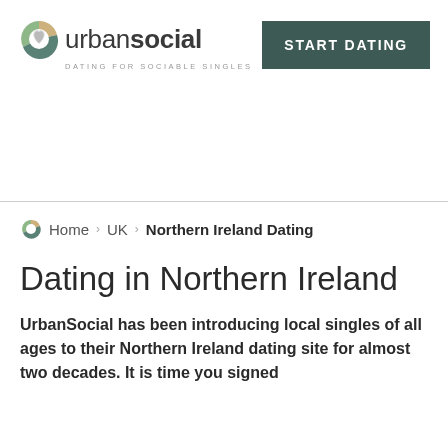[Figure (logo): UrbanSocial logo with circular icon and tagline 'DATING FOR SOCIABLE SINGLES']
[Figure (other): START DATING button (dark teal/green background, white uppercase text)]
[Figure (other): Advertisement area (blank white space)]
Home > UK > Northern Ireland Dating
Dating in Northern Ireland
UrbanSocial has been introducing local singles of all ages to their Northern Ireland dating site for almost two decades. It is time you signed up, isn't it...?